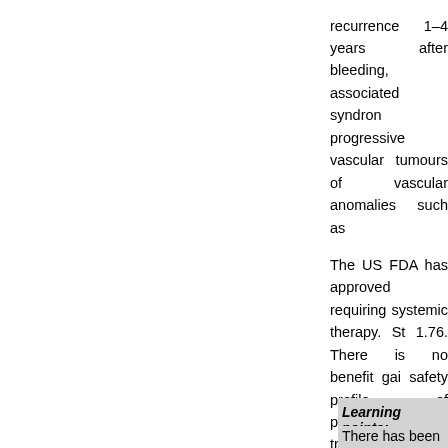recurrence 1–4 years after bleeding, associated syndromes, progressive vascular tumours, of vascular anomalies such as
The US FDA has approved requiring systemic therapy. St 1.76. There is no benefit gai safety profile of propranolol is treatment early in an escalat normal. However, relapses o weeks after treatment for 6 m of using less lipophilic drugs has been used quite often wit
Sirolimus is becoming a prom the PI3K/AKT/mTOR pathwa angiogenesis. Case series de haemangioendothelioma and
Learning points:
There has been a new co